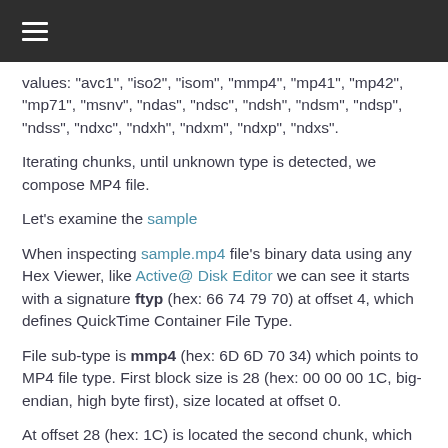≡ (menu icon)
values: "avc1", "iso2", "isom", "mmp4", "mp41", "mp42", "mp71", "msnv", "ndas", "ndsc", "ndsh", "ndsm", "ndsp", "ndss", "ndxc", "ndxh", "ndxm", "ndxp", "ndxs".
Iterating chunks, until unknown type is detected, we compose MP4 file.
Let's examine the sample
When inspecting sample.mp4 file's binary data using any Hex Viewer, like Active@ Disk Editor we can see it starts with a signature ftyp (hex: 66 74 79 70) at offset 4, which defines QuickTime Container File Type.
File sub-type is mmp4 (hex: 6D 6D 70 34) which points to MP4 file type. First block size is 28 (hex: 00 00 00 1C, big-endian, high byte first), size located at offset 0.
At offset 28 (hex: 1C) is located the second chunk, which has a size of 8 and type mdat (hex: 6D 64 61 74).